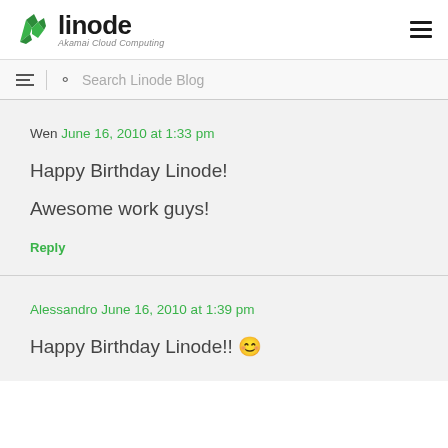linode — Akamai Cloud Computing
Search Linode Blog
Wen June 16, 2010 at 1:33 pm
Happy Birthday Linode!
Awesome work guys!
Reply
Alessandro June 16, 2010 at 1:39 pm
Happy Birthday Linode!! 😁